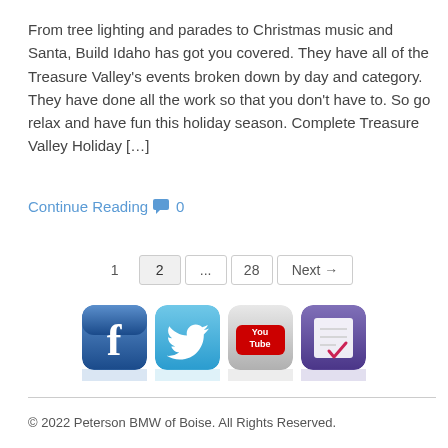From tree lighting and parades to Christmas music and Santa, Build Idaho has got you covered. They have all of the Treasure Valley's events broken down by day and category. They have done all the work so that you don't have to. So go relax and have fun this holiday season. Complete Treasure Valley Holiday […]
Continue Reading 💬 0
1  2  …  28  Next →
[Figure (screenshot): Social media icons for Facebook, Twitter, YouTube, and a bookmarking/checklist app, shown as rounded square app-style icons with reflections below.]
© 2022 Peterson BMW of Boise. All Rights Reserved.